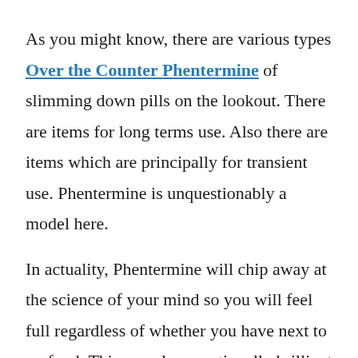As you might know, there are various types Over the Counter Phentermine of slimming down pills on the lookout. There are items for long terms use. Also there are items which are principally for transient use. Phentermine is unquestionably a model here.
In actuality, Phentermine will chip away at the science of your mind so you will feel full regardless of whether you have next to no food. This sounds exceptionally brilliant for